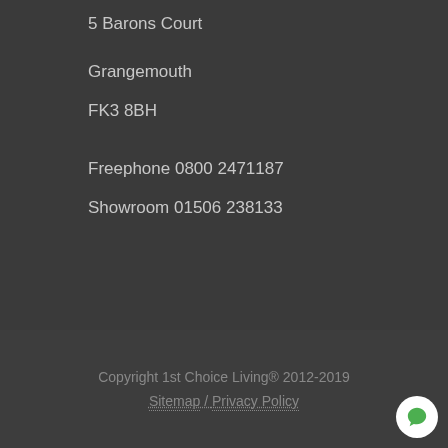5 Barons Court
Grangemouth
FK3 8BH
Freephone 0800 2471187
Showroom 01506 238133
Copyright 1st Choice Living® 2012-2019
Sitemap / Privacy Policy